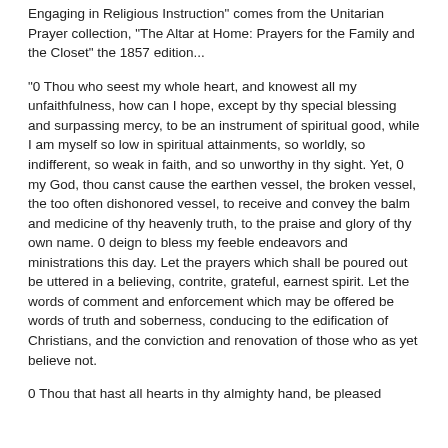Engaging in Religious Instruction" comes from the Unitarian Prayer collection, "The Altar at Home: Prayers for the Family and the Closet" the 1857 edition...
"0 Thou who seest my whole heart, and knowest all my unfaithfulness, how can I hope, except by thy special blessing and surpassing mercy, to be an instrument of spiritual good, while I am myself so low in spiritual attainments, so worldly, so indifferent, so weak in faith, and so unworthy in thy sight. Yet, 0 my God, thou canst cause the earthen vessel, the broken vessel, the too often dishonored vessel, to receive and convey the balm and medicine of thy heavenly truth, to the praise and glory of thy own name. 0 deign to bless my feeble endeavors and ministrations this day. Let the prayers which shall be poured out be uttered in a believing, contrite, grateful, earnest spirit. Let the words of comment and enforcement which may be offered be words of truth and soberness, conducing to the edification of Christians, and the conviction and renovation of those who as yet believe not.
0 Thou that hast all hearts in thy almighty hand, be pleased